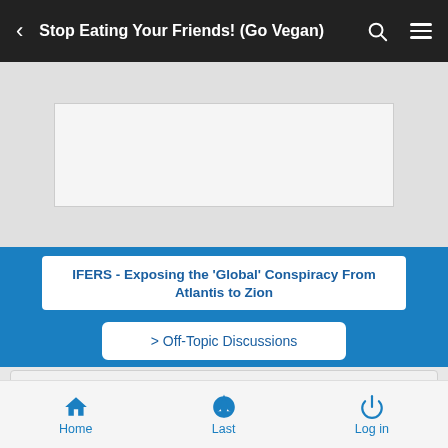Stop Eating Your Friends! (Go Vegan)
[Figure (other): Advertisement placeholder box (empty white rectangle)]
IFERS - Exposing the 'Global' Conspiracy From Atlantis to Zion
> Off-Topic Discussions
Stop Eating Your Friends! (Go Vegan)
Home  Last  Log in